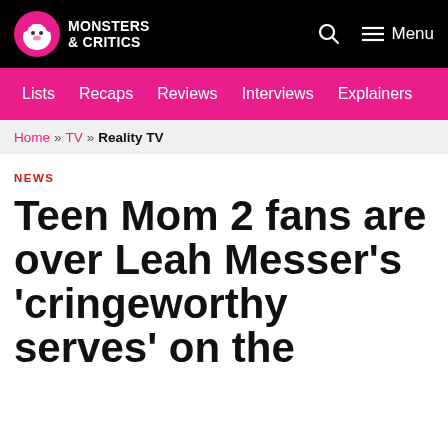Monsters & Critics | Lists | Recaps | Reviews | Interviews | Explainers
Home » TV » Reality TV
NEWS
Teen Mom 2 fans are over Leah Messer's 'cringeworthy serves' on the